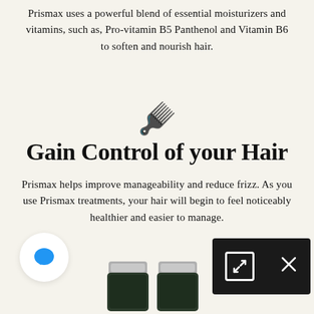Prismax uses a powerful blend of essential moisturizers and vitamins, such as, Pro-vitamin B5 Panthenol and Vitamin B6 to soften and nourish hair.
[Figure (illustration): Yellow hairbrush/comb emoji icon]
Gain Control of your Hair
Prismax helps improve manageability and reduce frizz. As you use Prismax treatments, your hair will begin to feel noticeably healthier and easier to manage.
[Figure (screenshot): Bottom section showing a chat bubble icon on the left, two product jars in the center, and a dark overlay box with expand and close icons on the right]